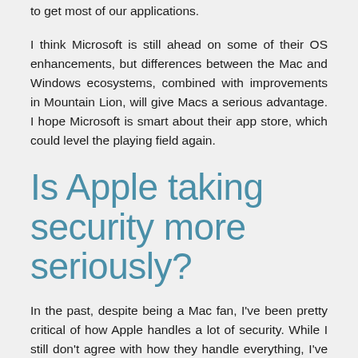to get most of our applications.
I think Microsoft is still ahead on some of their OS enhancements, but differences between the Mac and Windows ecosystems, combined with improvements in Mountain Lion, will give Macs a serious advantage. I hope Microsoft is smart about their app store, which could level the playing field again.
Is Apple taking security more seriously?
In the past, despite being a Mac fan, I've been pretty critical of how Apple handles a lot of security. While I still don't agree with how they handle everything, I've noticed a massive change in the past 2 years. With Lion, Apple for the first time invited certain security researchers to evaluate pre-release software (albeit under NDA) without forcing them to pay for a Developer